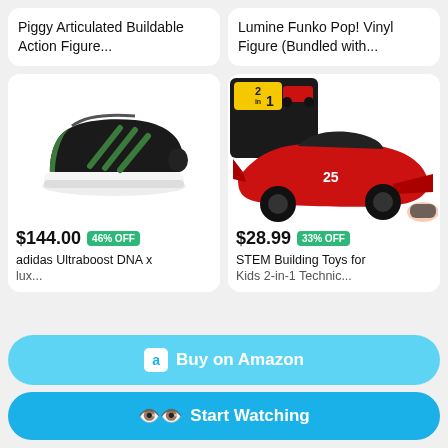Piggy Articulated Buildable Action Figure...
Lumine Funko Pop! Vinyl Figure (Bundled with...
[Figure (photo): Black and green Adidas Ultraboost sneaker on white background]
$144.00  46% OFF
adidas Ultraboost DNA x ...
[Figure (photo): Red 2-in-1 STEM building toy RC race car with box and remote control]
$28.99  33% OFF
STEM Building Toys for Kids 2-in-1 Technic...
Buy on Amazon
Start Watching